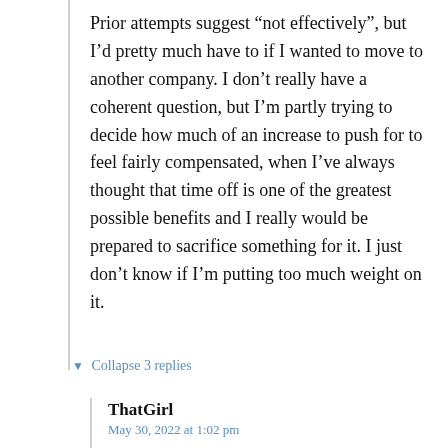Prior attempts suggest “not effectively”, but I’d pretty much have to if I wanted to move to another company. I don’t really have a coherent question, but I’m partly trying to decide how much of an increase to push for to feel fairly compensated, when I’ve always thought that time off is one of the greatest possible benefits and I really would be prepared to sacrifice something for it. I just don’t know if I’m putting too much weight on it.
▼ Collapse 3 replies
ThatGirl
May 30, 2022 at 1:02 pm
If it’s worth it to you then it’s worth it!
Banana
May 30, 2022 at 2:49 pm